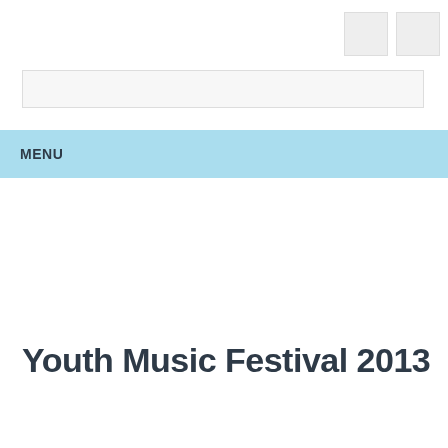[Figure (other): Two small grey square placeholder icons in the upper right corner]
[Figure (other): A wide light grey search/input bar with border]
MENU
Youth Music Festival 2013